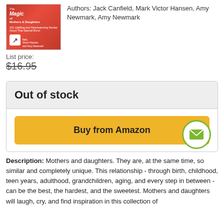[Figure (illustration): Book cover for 'The Magic of Mothers & Daughters' by Jack Canfield, Mark Victor Hansen, Amy Newmark. Red/pink cover with photo of two smiling women.]
Authors: Jack Canfield, Mark Victor Hansen, Amy Newmark, Amy Newmark
List price:
$16.95
Out of stock
Buy from Amazon
[Figure (illustration): Green circle envelope/email icon button]
Description: Mothers and daughters. They are, at the same time, so similar and completely unique. This relationship - through birth, childhood, teen years, adulthood, grandchildren, aging, and every step in between - can be the best, the hardest, and the sweetest. Mothers and daughters will laugh, cry, and find inspiration in this collection of